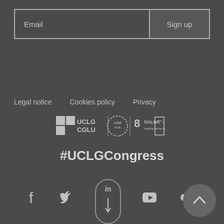Email
Sign up
Legal notice
Cookies policy
Privacy
[Figure (logo): UCLG CGLU logo, LG4 HUB logo, SALGA logo, and a building/dome logo]
#UCLGCongress
[Figure (infographic): Social media icons: Facebook, Twitter, LinkedIn (highlighted with pill/scroll indicator), YouTube, Flickr. Back-to-top arrow button at bottom right.]